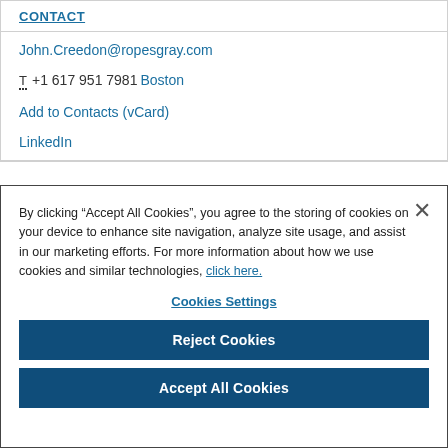CONTACT
John.Creedon@ropesgray.com
T +1 617 951 7981 Boston
Add to Contacts (vCard)
LinkedIn
By clicking “Accept All Cookies”, you agree to the storing of cookies on your device to enhance site navigation, analyze site usage, and assist in our marketing efforts. For more information about how we use cookies and similar technologies, click here.
Cookies Settings
Reject Cookies
Accept All Cookies